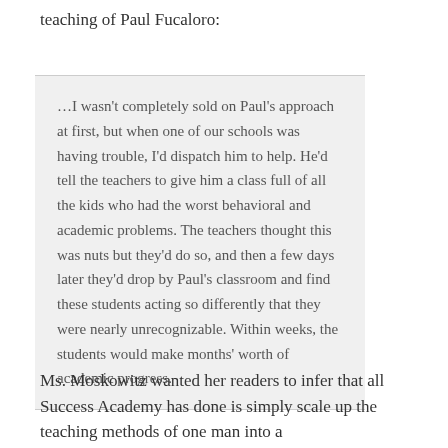teaching of Paul Fucaloro:
…I wasn't completely sold on Paul's approach at first, but when one of our schools was having trouble, I'd dispatch him to help. He'd tell the teachers to give him a class full of all the kids who had the worst behavioral and academic problems. The teachers thought this was nuts but they'd do so, and then a few days later they'd drop by Paul's classroom and find these students acting so differently that they were nearly unrecognizable. Within weeks, the students would make months' worth of academic progress.
Ms. Moskowitz wanted her readers to infer that all Success Academy has done is simply scale up the teaching methods of one man into a